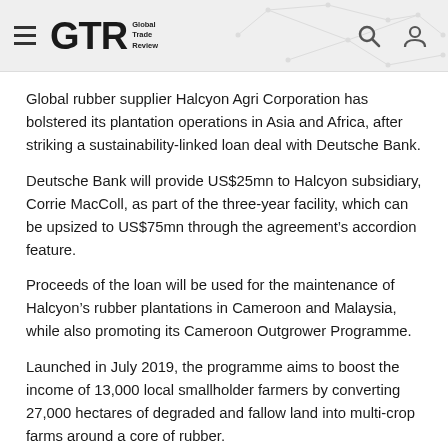GTR Global Trade Review
Global rubber supplier Halcyon Agri Corporation has bolstered its plantation operations in Asia and Africa, after striking a sustainability-linked loan deal with Deutsche Bank.
Deutsche Bank will provide US$25mn to Halcyon subsidiary, Corrie MacColl, as part of the three-year facility, which can be upsized to US$75mn through the agreement’s accordion feature.
Proceeds of the loan will be used for the maintenance of Halcyon’s rubber plantations in Cameroon and Malaysia, while also promoting its Cameroon Outgrower Programme.
Launched in July 2019, the programme aims to boost the income of 13,000 local smallholder farmers by converting 27,000 hectares of degraded and fallow land into multi-crop farms around a core of rubber.
With Halcyon’s new loan from Deutsche Bank, lending rates are attached to the company meeting certain mutually agreed sustainability performance targets outlined in a framework